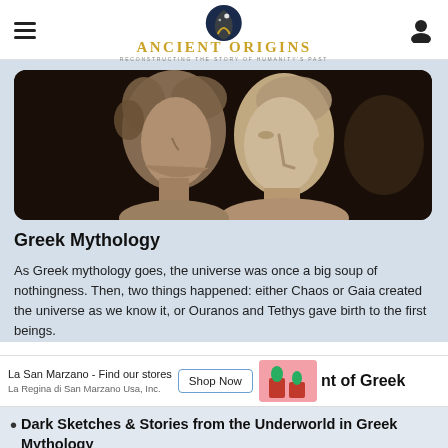Ancient Origins — Reconstructing the story of humanity's past
[Figure (photo): Two classical Greek marble busts/sculptures shown in close profile, one behind the other, against a dark background]
Greek Mythology
As Greek mythology goes, the universe was once a big soup of nothingness. Then, two things happened: either Chaos or Gaia created the universe as we know it, or Ouranos and Tethys gave birth to the first beings.
La San Marzano - Find our stores | Shop Now | La Regina di San Marzano Usa, Inc. | nt of Greek
Dark Sketches & Stories from the Underworld in Greek Mythology